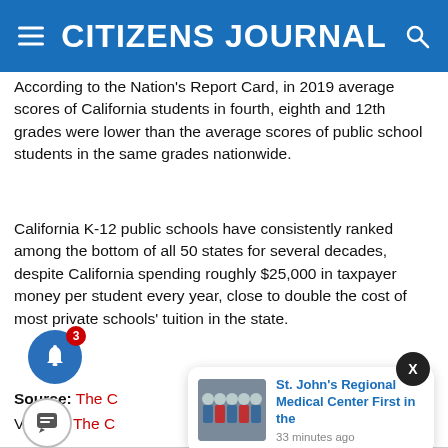CITIZENS JOURNAL
According to the Nation's Report Card, in 2019 average scores of California students in fourth, eighth and 12th grades were lower than the average scores of public school students in the same grades nationwide.
California K-12 public schools have consistently ranked among the bottom of all 50 states for several decades, despite California spending roughly $25,000 in taxpayer money per student every year, close to double the cost of most private schools' tuition in the state.
Source: The C...
Visit the The C...
[Figure (screenshot): Notification popup showing St. John's Regional Medical Center news item with photo of group in medical attire, timestamped 33 minutes ago]